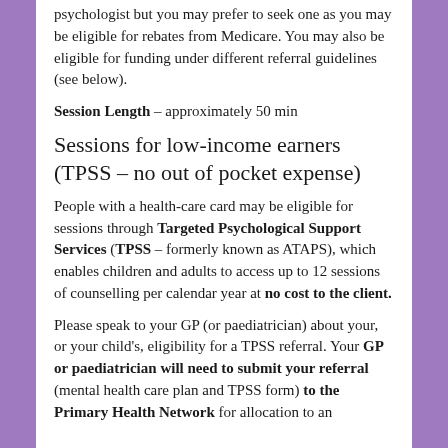psychologist but you may prefer to seek one as you may be eligible for rebates from Medicare. You may also be eligible for funding under different referral guidelines (see below).
Session Length – approximately 50 min
Sessions for low-income earners (TPSS – no out of pocket expense)
People with a health-care card may be eligible for sessions through Targeted Psychological Support Services (TPSS – formerly known as ATAPS), which enables children and adults to access up to 12 sessions of counselling per calendar year at no cost to the client.
Please speak to your GP (or paediatrician) about your, or your child's, eligibility for a TPSS referral. Your GP or paediatrician will need to submit your referral (mental health care plan and TPSS form) to the Primary Health Network for allocation to an